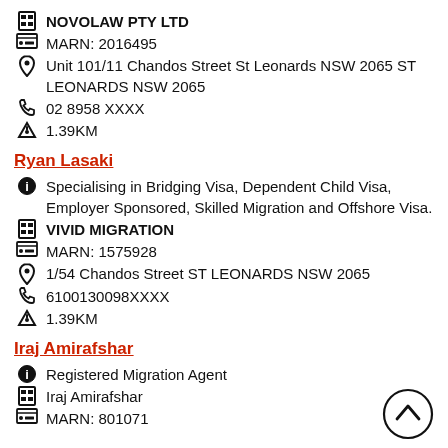NOVOLAW PTY LTD
MARN: 2016495
Unit 101/11 Chandos Street St Leonards NSW 2065 ST LEONARDS NSW 2065
02 8958 XXXX
1.39KM
Ryan Lasaki
Specialising in Bridging Visa, Dependent Child Visa, Employer Sponsored, Skilled Migration and Offshore Visa.
VIVID MIGRATION
MARN: 1575928
1/54 Chandos Street ST LEONARDS NSW 2065
6100130098XXXX
1.39KM
Iraj Amirafshar
Registered Migration Agent
Iraj Amirafshar
MARN: 801071